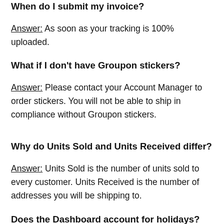When do I submit my invoice?
Answer: As soon as your tracking is 100% uploaded.
What if I don't have Groupon stickers?
Answer: Please contact your Account Manager to order stickers. You will not be able to ship in compliance without Groupon stickers.
Why do Units Sold and Units Received differ?
Answer: Units Sold is the number of units sold to every customer. Units Received is the number of addresses you will be shipping to.
Does the Dashboard account for holidays?